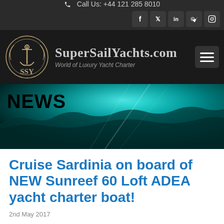Call Us: +44 121 285 8010
[Figure (logo): SuperSailYachts.com logo with SSY anchor emblem in gold/tan circle, brand name and tagline 'World of Luxury Yacht Charter']
[Figure (photo): Aerial teal ocean/reef news banner with NEWS text overlay]
Cruise Sardinia on board of NEW Sunreef 60 Loft ADEA yacht charter boat!
2nd May 2017